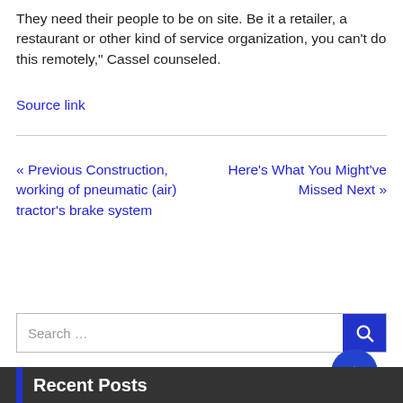They need their people to be on site. Be it a retailer, a restaurant or other kind of service organization, you can't do this remotely," Cassel counseled.
Source link
« Previous Construction, working of pneumatic (air) tractor's brake system
Here's What You Might've Missed Next »
Search …
Recent Posts